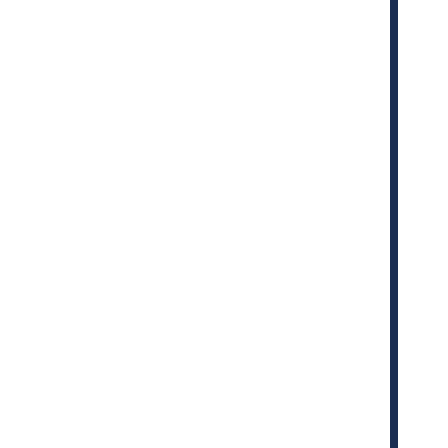Source: Variety | Comments (0) | E-mail Article | Add a Comment...
To literally no one's surprise, Netflix has decided done, even though it was the second most watch season. But the show dropped out of the top 10 b that's from critics, the audience score was an aby
[Figure (photo): A photo showing a figure in dark blue/teal clothing against a blue-toned background]
with mostly negative responses.